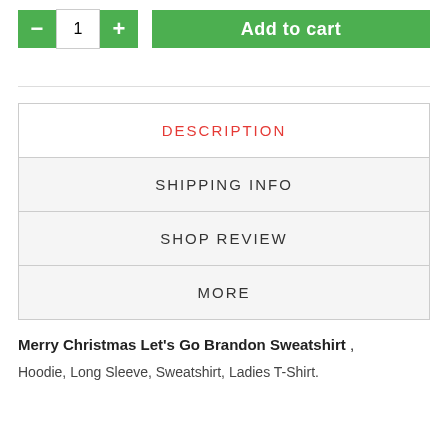[Figure (screenshot): E-commerce product page UI showing quantity controls (minus button, quantity field showing 1, plus button) and an 'Add to cart' green button]
DESCRIPTION
SHIPPING INFO
SHOP REVIEW
MORE
Merry Christmas Let's Go Brandon Sweatshirt , Hoodie, Long Sleeve, Sweatshirt, Ladies T-Shirt.